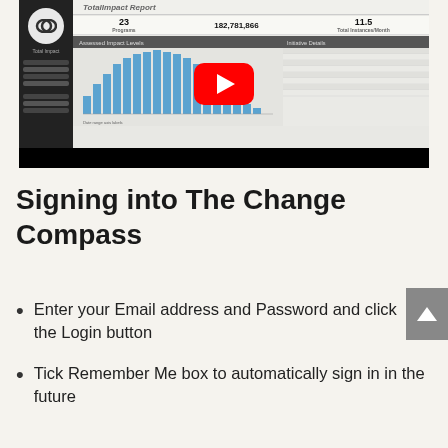[Figure (screenshot): YouTube video thumbnail showing The Change Compass Total Impact Report dashboard with a bar chart and data table, with a YouTube play button overlay]
Signing into The Change Compass
Enter your Email address and Password and click the Login button
Tick Remember Me box to automatically sign in in the future
Click Forgot Password if you've forgotten your password, and after entering your email and pressing Email Link and your